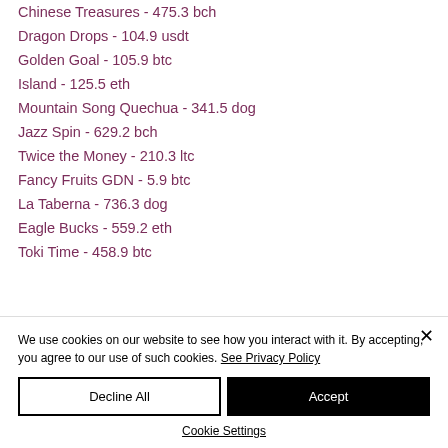Chinese Treasures - 475.3 bch
Dragon Drops - 104.9 usdt
Golden Goal - 105.9 btc
Island - 125.5 eth
Mountain Song Quechua - 341.5 dog
Jazz Spin - 629.2 bch
Twice the Money - 210.3 ltc
Fancy Fruits GDN - 5.9 btc
La Taberna - 736.3 dog
Eagle Bucks - 559.2 eth
Toki Time - 458.9 btc
We use cookies on our website to see how you interact with it. By accepting, you agree to our use of such cookies. See Privacy Policy
Decline All | Accept | Cookie Settings